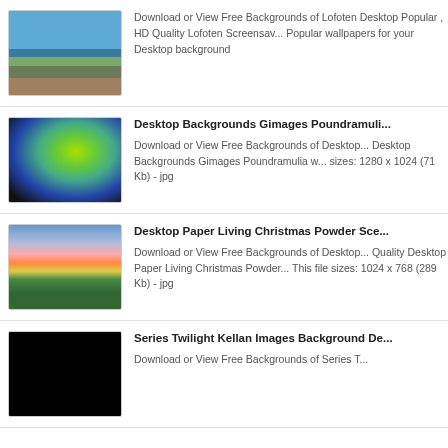Download or View Free Backgrounds of Lofoten Desktop Popular , HD Quality Lofoten Screensaver Popular wallpapers for your Desktop background
[Figure (photo): Thumbnail photo of Lofoten landscape with fishing boat and mountain]
Desktop Backgrounds Gimages Poundramulia
Download or View Free Backgrounds of Desktop Backgrounds Gimages Poundramulia with sizes: 1280 x 1024 (71 Kb) - jpg
[Figure (photo): Thumbnail photo of colorful aurora or rainbow light effect]
Desktop Paper Living Christmas Powder Sce
Download or View Free Backgrounds of Desktop Quality Desktop Paper Living Christmas Powder This file sizes: 1024 x 768 (289 Kb) - jpg
[Figure (photo): Thumbnail photo of sunset sky with tree silhouette]
Series Twilight Kellan Images Background De
Download or View Free Backgrounds of Series T
[Figure (photo): Thumbnail dark photo of Twilight series characters]